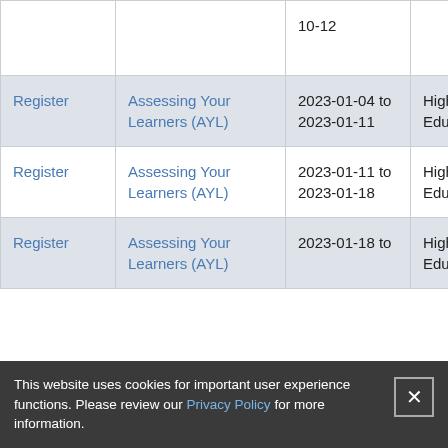| Action | Course | Date | Type |
| --- | --- | --- | --- |
|  |  | 10-12 |  |
| Register | Assessing Your Learners (AYL) | 2023-01-04 to 2023-01-11 | Higher Education |
| Register | Assessing Your Learners (AYL) | 2023-01-11 to 2023-01-18 | Higher Education |
| Register | Assessing Your Learners (AYL) | 2023-01-18 to ... | Higher Education |
This website uses cookies for important user experience functions. Please review our Privacy Policy for more information.